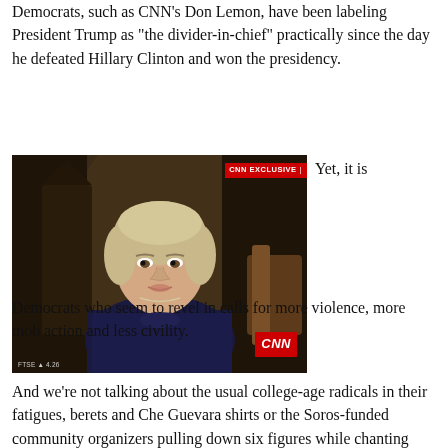Democrats, such as CNN's Don Lemon, have been labeling President Trump as “the divider-in-chief” practically since the day he defeated Hillary Clinton and won the presidency.
[Figure (photo): CNN Exclusive interview screenshot showing a woman (Hillary Clinton) being interviewed, with CNN logo and 'CNN EXCLUSIVE' badge on screen]
Yet, it is
Democrats who seem to revel in calls for more violence, more mob action and less civility.
And we’re not talking about the usual college-age radicals in their fatigues, berets and Che Guevara shirts or the Soros-funded community organizers pulling down six figures while chanting “power to the people.”
And we’re not talking about whack job Democrat Rep.